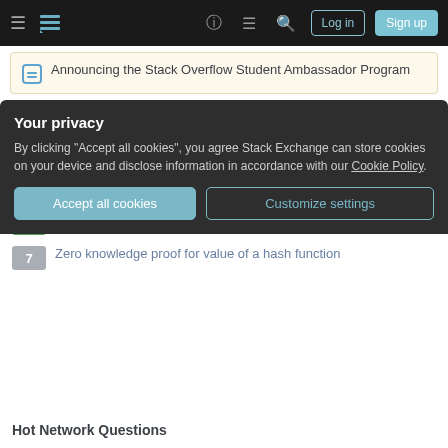Stack Exchange navigation bar with Log in and Sign up buttons
Announcing the Stack Overflow Student Ambassador Program
Related
6 — Existence of zero-knowledge proof for location
3 — Zero knowledgeness of a simple protocol
12 — Why is Feige-Fiat-Shamir not Zero Knowledge without sign bits?
7 — Zero knowledge proof for value of a hash function
Your privacy
By clicking "Accept all cookies", you agree Stack Exchange can store cookies on your device and disclose information in accordance with our Cookie Policy.
Accept all cookies   Customize settings
Hot Network Questions